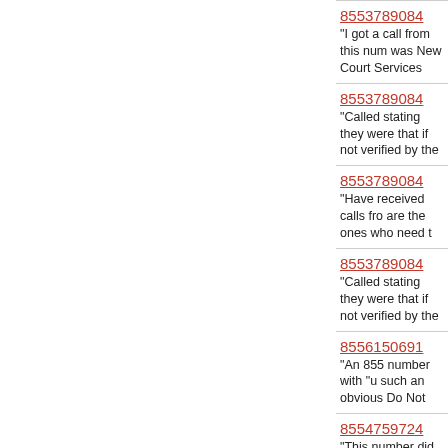8553789084
"I got a call from this num was New Court Services
8553789084
"Called stating they were that if not verified by the
8553789084
"Have received calls fro are the ones who need t
8553789084
"Called stating they were that if not verified by the
8556150691
"An 855 number with "u such an obvious Do Not
8554759724
"This number did not cal Electrical with the Phone
8558113854
"Do Not Call Law violatin scam calls are allowed o
8554433799
"Got a call from Kelly o